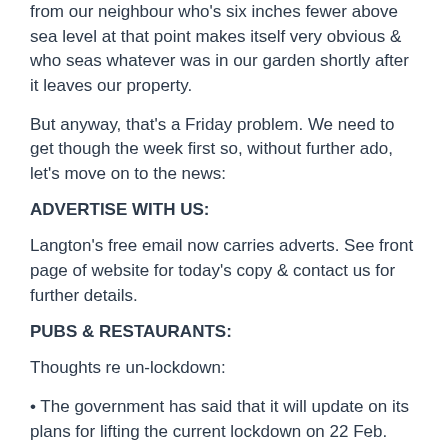from our neighbour who's six inches fewer above sea level at that point makes itself very obvious & who seas whatever was in our garden shortly after it leaves our property.
But anyway, that's a Friday problem. We need to get though the week first so, without further ado, let's move on to the news:
ADVERTISE WITH US:
Langton's free email now carries adverts. See front page of website for today's copy & contact us for further details.
PUBS & RESTAURANTS:
Thoughts re un-lockdown:
• The government has said that it will update on its plans for lifting the current lockdown on 22 Feb. The Times reports that the announcement will include details